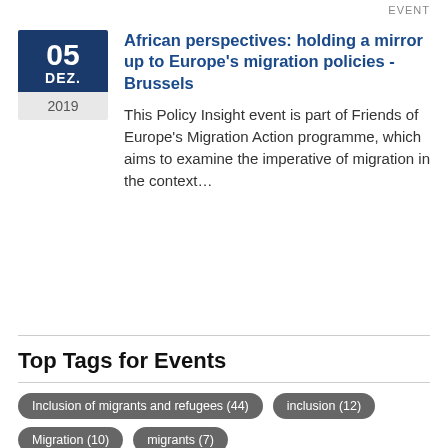EVENT
African perspectives: holding a mirror up to Europe's migration policies - Brussels
This Policy Insight event is part of Friends of Europe's Migration Action programme, which aims to examine the imperative of migration in the context…
Top Tags for Events
Inclusion of migrants and refugees (44)
inclusion (12)
Migration (10)
migrants (7)